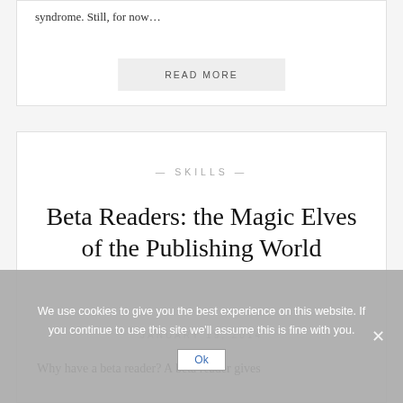syndrome. Still, for now…
READ MORE
SKILLS
Beta Readers: the Magic Elves of the Publishing World
JANUARY 19, 2014
Why have a beta reader? A beta reader gives
We use cookies to give you the best experience on this website. If you continue to use this site we'll assume this is fine with you.
Ok